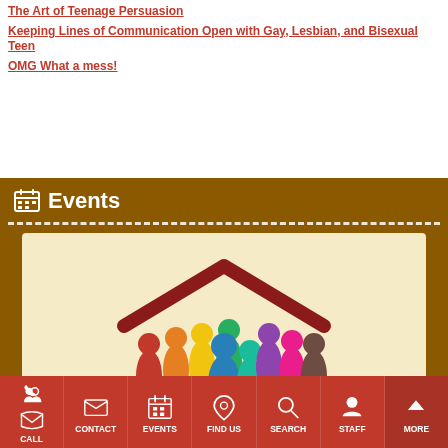The Art of Teenage Persuasion
Keeping Lines of Communication Open with Gay, Lesbian, and Bisexual Teen
OMG What a mess!
Events
[Figure (illustration): Colorful illustration of diverse people figures standing under a red roof/house shape on a cream background]
CALL | CONTACT | EVENTS | FIND US | SEARCH | STAFF | MORE